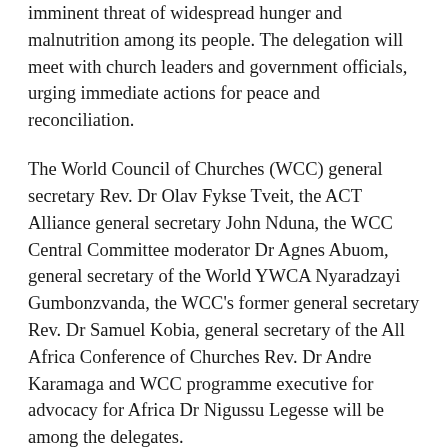imminent threat of widespread hunger and malnutrition among its people. The delegation will meet with church leaders and government officials, urging immediate actions for peace and reconciliation.
The World Council of Churches (WCC) general secretary Rev. Dr Olav Fykse Tveit, the ACT Alliance general secretary John Nduna, the WCC Central Committee moderator Dr Agnes Abuom, general secretary of the World YWCA Nyaradzayi Gumbonzvanda, the WCC's former general secretary Rev. Dr Samuel Kobia, general secretary of the All Africa Conference of Churches Rev. Dr Andre Karamaga and WCC programme executive for advocacy for Africa Dr Nigussu Legesse will be among the delegates.
The delegates, while in Juba, will accompany churches in advocating for a cease-fire, asking parties in conflict to come back to peace negotiations, allowing humanitarian access in